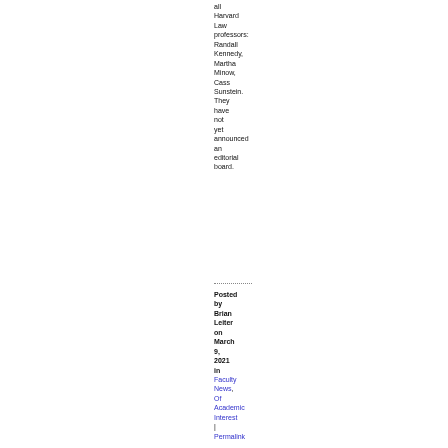all Harvard Law professors: Randall Kennedy, Martha Minow, Cass Sunstein. They have not yet announced an editorial board.
Posted by Brian Leiter on March 9, 2021 in Faculty News, Of Academic Interest | Permalink